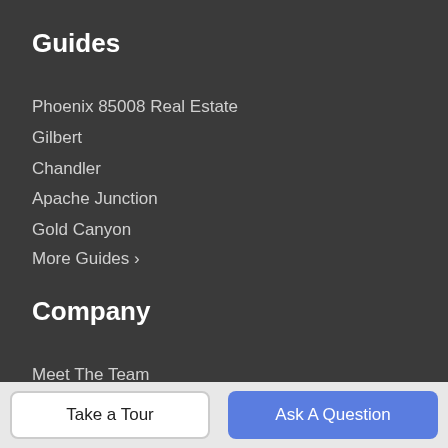Guides
Phoenix 85008 Real Estate
Gilbert
Chandler
Apache Junction
Gold Canyon
More Guides >
Company
Meet The Team
Our Blog
Contact Us
Resources
Take a Tour
Ask A Question